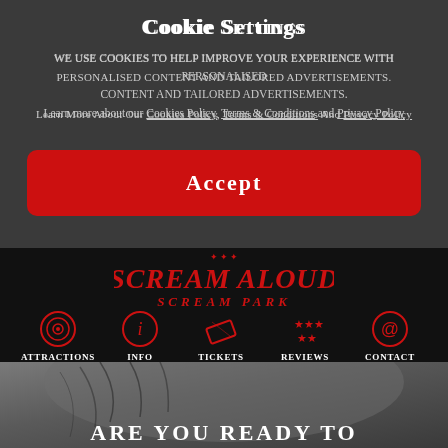Cookie Settings
We use cookies to help improve your experience with personalised content and tailored advertisements.
Learn more about our Cookies Policy, Terms & Conditions and Privacy Policy
Accept
[Figure (logo): Scream Aloud Scream Park logo in red gothic lettering with decorative elements]
Attractions Info Tickets Reviews Contact
Are You Ready To